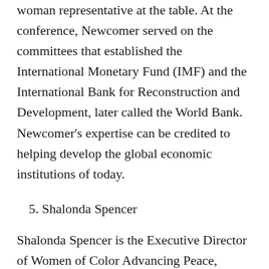woman representative at the table. At the conference, Newcomer served on the committees that established the International Monetary Fund (IMF) and the International Bank for Reconstruction and Development, later called the World Bank. Newcomer's expertise can be credited to helping develop the global economic institutions of today.
5. Shalonda Spencer
Shalonda Spencer is the Executive Director of Women of Color Advancing Peace, Security, and Conflict Transformation (WCAPS), an organization dedicated to advancing the leadership and development of women of color in foreign affairs. WCAPS has chapters all around the globe. Spencer has used her voice to